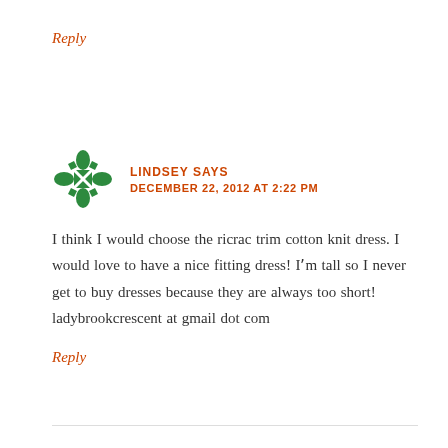Reply
[Figure (illustration): Green decorative avatar icon with geometric snowflake/cross pattern in green and white, circular shape]
LINDSEY SAYS
DECEMBER 22, 2012 AT 2:22 PM
I think I would choose the ricrac trim cotton knit dress. I would love to have a nice fitting dress! Iʺm tall so I never get to buy dresses because they are always too short! ladybrookcrescent at gmail dot com
Reply